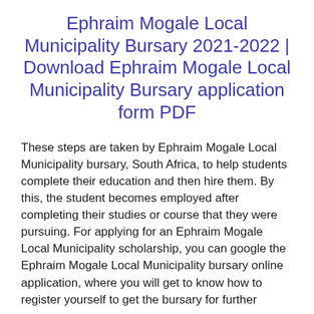Ephraim Mogale Local Municipality Bursary 2021-2022 | Download Ephraim Mogale Local Municipality Bursary application form PDF
These steps are taken by Ephraim Mogale Local Municipality bursary, South Africa, to help students complete their education and then hire them. By this, the student becomes employed after completing their studies or course that they were pursuing. For applying for an Ephraim Mogale Local Municipality scholarship, you can google the Ephraim Mogale Local Municipality bursary online application, where you will get to know how to register yourself to get the bursary for further